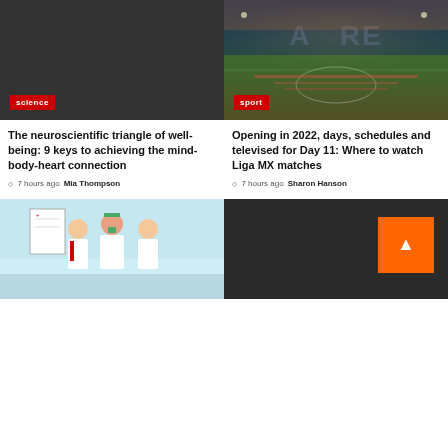[Figure (illustration): Dark background with science category tag]
[Figure (photo): Stadium aerial view during opening ceremony with Liga MX text, sport category tag]
The neuroscientific triangle of well-being: 9 keys to achieving the mind-body-heart connection
7 hours ago  Mia Thompson
Opening in 2022, days, schedules and televised for Day 11: Where to watch Liga MX matches
7 hours ago  Sharon Hanson
[Figure (illustration): Medical cartoon illustration with doctors and nurse]
[Figure (illustration): Dark background with orange back-to-top arrow button]